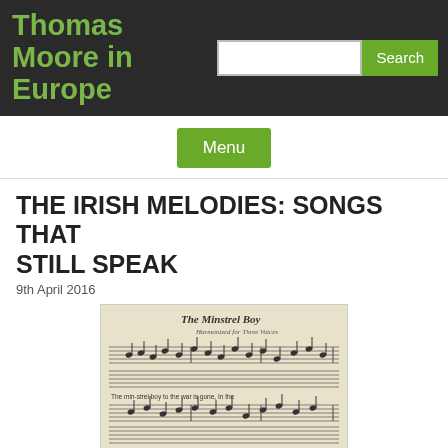Thomas Moore in Europe
THE IRISH MELODIES: SONGS THAT STILL SPEAK
9th April 2016
[Figure (photo): Scanned page of handwritten/printed sheet music from what appears to be an old musical score, possibly from Thomas Moore's Irish Melodies. The page shows multiple staves with musical notation and lyrics visible, including the text 'The Minstrel Boy' at the top in cursive script.]